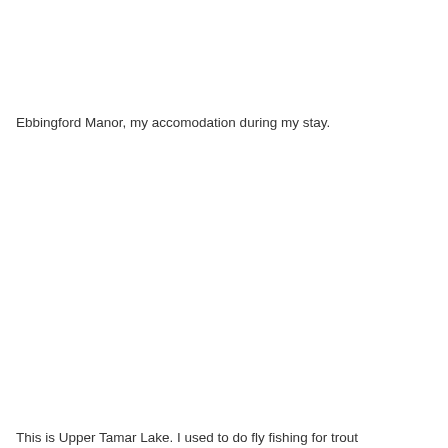Ebbingford Manor, my accomodation during my stay.
This is Upper Tamar Lake. I used to do fly fishing for trout